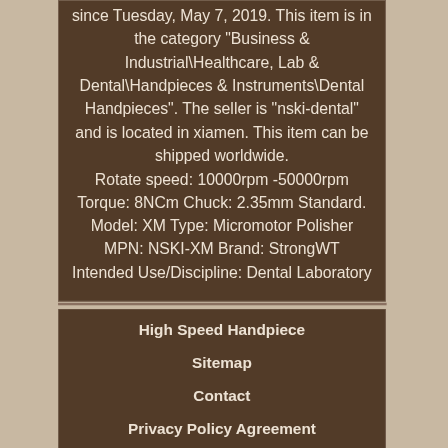since Tuesday, May 7, 2019. This item is in the category "Business & Industrial\Healthcare, Lab & Dental\Handpieces & Instruments\Dental Handpieces". The seller is "nski-dental" and is located in xiamen. This item can be shipped worldwide. Rotate speed: 10000rpm -50000rpm Torque: 8NCm Chuck: 2.35mm Standard. Model: XM Type: Micromotor Polisher MPN: NSKI-XM Brand: StrongWT Intended Use/Discipline: Dental Laboratory
High Speed Handpiece
Sitemap
Contact
Privacy Policy Agreement
Service Agreement